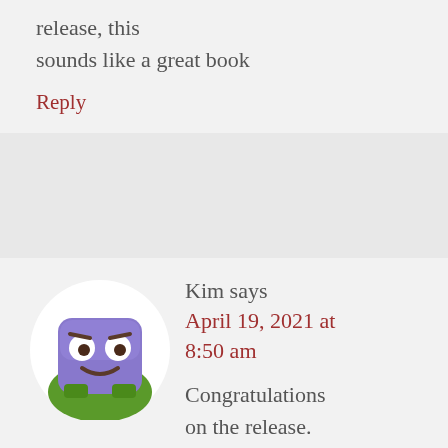release, this sounds like a great book
Reply
Kim says
April 19, 2021 at 8:50 am
[Figure (illustration): Cartoon avatar of a purple square character with a smiley face and eyebrows, set against a green background in a circular frame]
Congratulations on the release. The story sounds interesting.
Reply